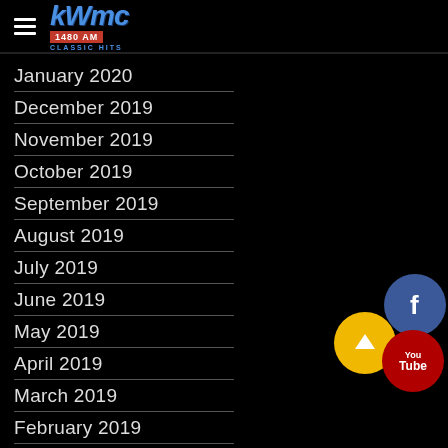KWMC 1480 AM Classic Hits
January 2020
December 2019
November 2019
October 2019
September 2019
August 2019
July 2019
June 2019
May 2019
April 2019
March 2019
February 2019
January 2019
December 2018
[Figure (illustration): Social media icons: Facebook (blue circle), up arrow (yellow circle), YouTube (dark red circle)]